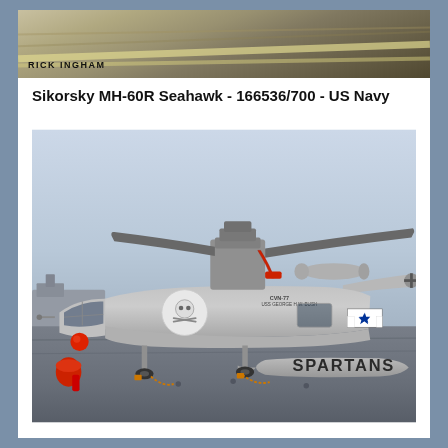[Figure (photo): Top cropped photo showing an aircraft carrier deck/runway surface at an angle, with a photo credit watermark reading RICK INGHAM in the lower left]
Sikorsky MH-60R Seahawk - 166536/700 - US Navy
[Figure (photo): Close-up side profile photograph of a US Navy Sikorsky MH-60R Seahawk helicopter (bureau number 166536) on an aircraft carrier deck. The helicopter is gray, with a skull-and-crossbones squadron emblem, CVN-77 USS George H.W. Bush markings, folded rotor blades, a red tow ball on the nose gear, orange/red tie-down chains, and SPARTANS written on the torpedo pod. A US national insignia star-and-bar is visible on the fuselage.]